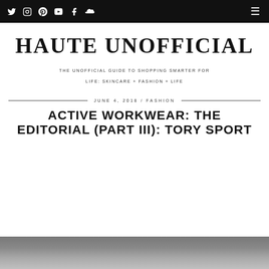Twitter | Instagram | Pinterest | YouTube | Facebook | SoundCloud | [menu]
HAUTE UNOFFICIAL
THE UNOFFICIAL GUIDE TO SHOPPING SMARTER FOR LIFE: SKINCARE + FASHION + LIFE
JUNE 4, 2018 / FASHION
ACTIVE WORKWEAR: THE EDITORIAL (PART III): TORY SPORT
[Figure (photo): Bottom strip of a photo, dark grey background, appears to be the top of a fashion editorial photograph]